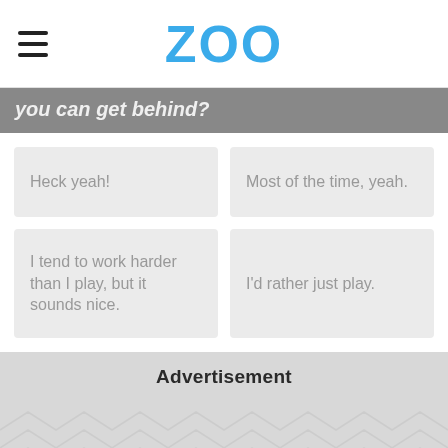ZOO
you can get behind?
Heck yeah!
Most of the time, yeah.
I tend to work harder than I play, but it sounds nice.
I'd rather just play.
Advertisement